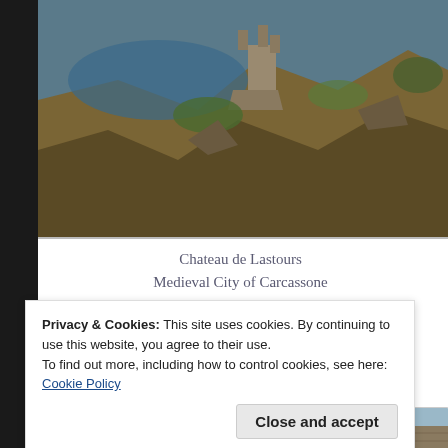[Figure (photo): Aerial/scenic photo of Chateau de Lastours, showing a stone castle ruin on a rocky hillside above a river gorge]
Chateau de Lastours
Medieval City of Carcassone
Chateau de Montsegur
Wednesday
[Figure (photo): Partial view of a stone medieval building/ruins with sky in background]
Privacy & Cookies: This site uses cookies. By continuing to use this website, you agree to their use.
To find out more, including how to control cookies, see here:
Cookie Policy
Close and accept